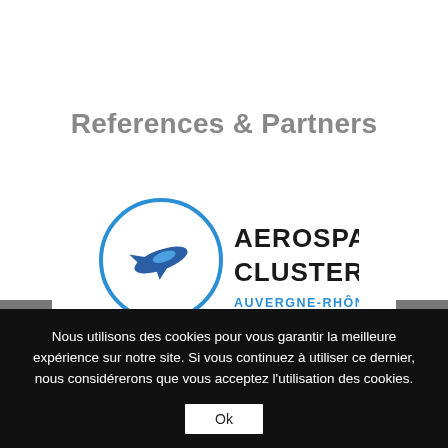References & Partners
[Figure (logo): Aerospace Cluster Auvergne-Rhône-Alpes logo: a circular icon with stylized aircraft/arrow shape in blue and dark grey, next to bold black text 'AEROSPACE CLUSTER' and blue text 'AUVERGNE-RHÔNE-ALPES']
Nous utilisons des cookies pour vous garantir la meilleure expérience sur notre site. Si vous continuez à utiliser ce dernier, nous considérerons que vous acceptez l'utilisation des cookies.